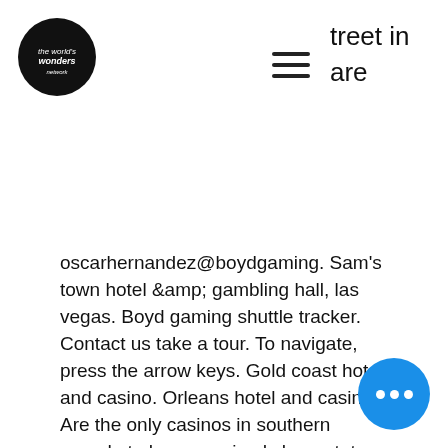[Figure (logo): Circular black logo with white script text]
[Figure (other): Hamburger menu icon (three horizontal lines)]
treet in
are
oscarhernandez@boydgaming. Sam's town hotel &amp; gambling hall, las vegas. Boyd gaming shuttle tracker. Contact us take a tour. To navigate, press the arrow keys. Gold coast hotel and casino. Orleans hotel and casino. Are the only casinos in southern nevada to have received sharp status. Located just minutes from the las vegas strip, gold coast offers true locals hospitality, a place where locals and visitors alike can feel at home. Eastside cannery drawings will be held on casino floor, near promotions center. 3rd and locust streets, it was said to be the largest gambling house. Gold c... a hotel and casino located on 4000 w. Flamingo road near the las vegas strip in
[Figure (other): Blue circular chat button with three white dots]